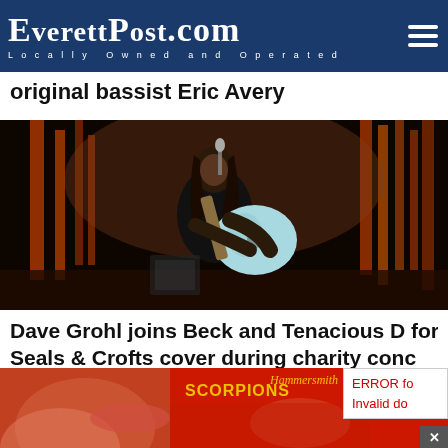EverettPost.com — Locally Owned and Operated
original bassist Eric Avery
[Figure (photo): Dave Grohl performing on stage with a pale blue semi-hollow electric guitar, long hair, singing into a microphone with dramatic stage lighting in orange tones]
Dave Grohl joins Beck and Tenacious D for Seals & Crofts cover during charity conc
[Figure (photo): Scorpions Hammersmith album cover on red background with close-up of a face/hand, partial view]
ERROR fo
Invalid do